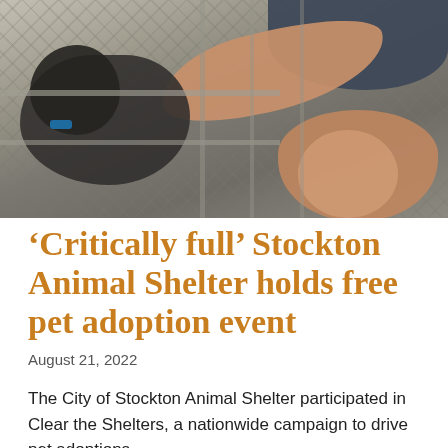[Figure (photo): A person bending over and reaching through a chain-link fence to pet or feed a dark-colored dog inside a kennel at an animal shelter. The person is wearing shorts and a dark top. The dog has a blue collar.]
‘Critically full’ Stockton Animal Shelter holds free pet adoption event
August 21, 2022
The City of Stockton Animal Shelter participated in Clear the Shelters, a nationwide campaign to drive pet adoptions